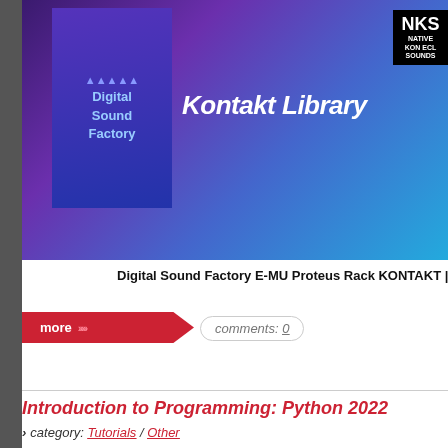[Figure (photo): Digital Sound Factory E-MU Proteus Rack KONTAKT product box with purple/blue gradient background showing 'Digital Sound Factory', 'Kontakt Library', and 'NKS' label]
Digital Sound Factory E-MU Proteus Rack KONTAKT | 1.79 GB TH
more >>>>> comments: 0
Introduction to Programming: Python 2022
> category: Tutorials / Other
[Figure (photo): Python programming logo on blue/yellow gradient background]